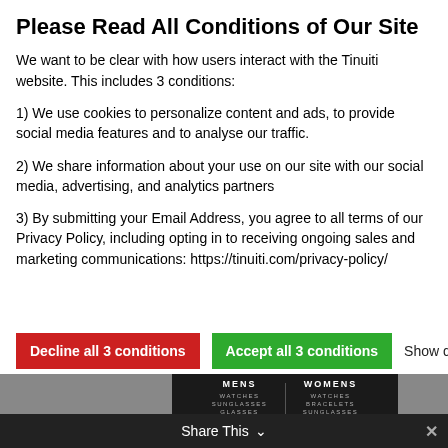Please Read All Conditions of Our Site
We want to be clear with how users interact with the Tinuiti website. This includes 3 conditions:
1) We use cookies to personalize content and ads, to provide social media features and to analyse our traffic.
2) We share information about your use on our site with our social media, advertising, and analytics partners
3) By submitting your Email Address, you agree to all terms of our Privacy Policy, including opting in to receiving ongoing sales and marketing communications: https://tinuiti.com/privacy-policy/
Decline all 3 conditions | Accept all 3 conditions | Show details
[Figure (screenshot): Dark website footer showing MENS and WOMENS navigation columns with items: WATCHES, SUNGLASSES, GLASSES, STRAPS under MENS and WATCHES, BRACELETS, SUNGLASSES, STRAPS under WOMENS. A Share This bar at the bottom.]